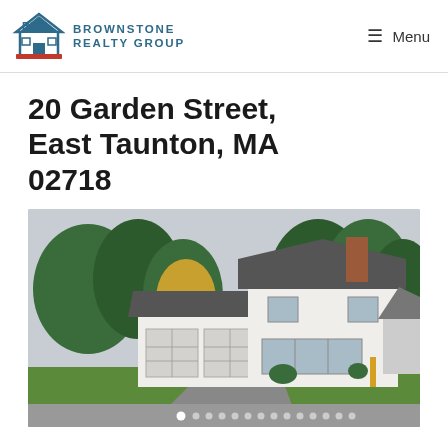[Figure (logo): Brownstone Realty Group logo with house icon and BRG letters, blue and red colors]
BROWNSTONE REALTY GROUP | Menu
20 Garden Street, East Taunton, MA 02718
[Figure (photo): Exterior photo of a white two-story colonial house with an attached two-car garage, brick chimney, dark asphalt driveway, green lawn, and trees in the background]